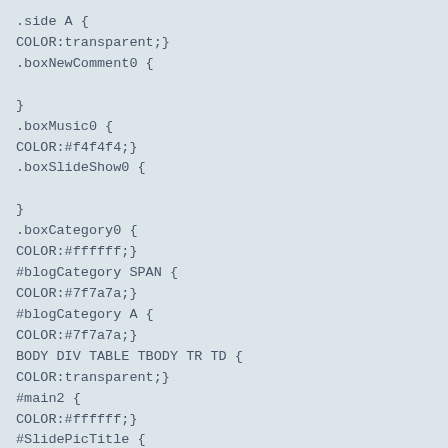.side A {
COLOR:transparent;}
.boxNewComment0 {

}
.boxMusic0 {
COLOR:#f4f4f4;}
.boxSlideShow0 {

}
.boxCategory0 {
COLOR:#ffffff;}
#blogCategory SPAN {
COLOR:#7f7a7a;}
#blogCategory A {
COLOR:#7f7a7a;}
BODY DIV TABLE TBODY TR TD {
COLOR:transparent;}
#main2 {
COLOR:#ffffff;}
#SlidePicTitle {

}
#boxCategory {